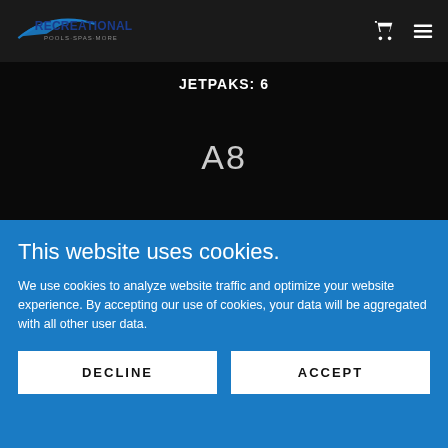Recreational Pools · Spas · More
JETPAKS: 6
A8
This website uses cookies.
We use cookies to analyze website traffic and optimize your website experience. By accepting our use of cookies, your data will be aggregated with all other user data.
DECLINE
ACCEPT